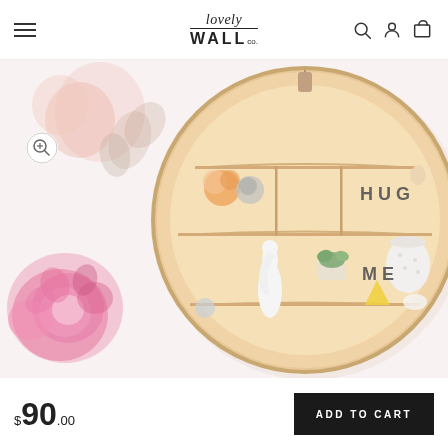lovely WALL co. — navigation header with hamburger menu, logo, search, account, and cart icons
[Figure (photo): A round wooden wall shelf displaying small decorative items including ceramic figurines, a small succulent plant, a yellow geometric shape, and letter tiles spelling 'HUG ME'. Floral watercolor decorations (pink rose, peach flowers) appear in the background corners.]
$90.00
ADD TO CART